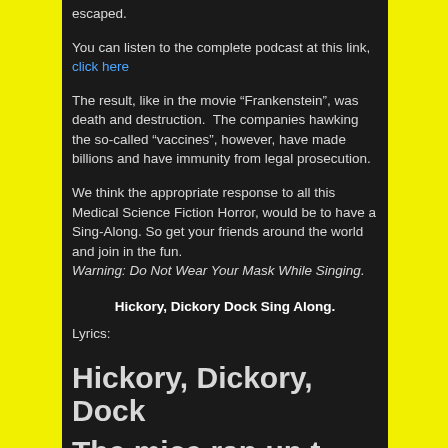escaped.
You can listen to the complete podcast at this link, click here
The result, like in the movie “Frankenstein”, was death and destruction.  The companies hawking the so-called “vaccines”, however, have made billions and have immunity from legal prosecution.
We think the appropriate response to all this Medical Science Fiction Horror, would be to have a Sing-Along. So get your friends around the world and join in the fun. Warning: Do Not Wear Your Mask While Singing.
Hickory, Dickory Dock Sing Along.
Lyrics:
Hickory, Dickory, Dock
The mice ran up the clock